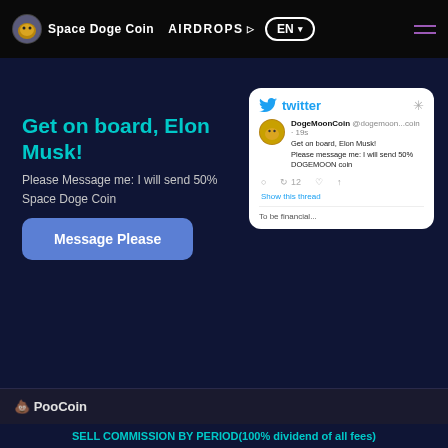Space Doge Coin  AIRDROPS  EN
Get on board, Elon Musk!
Please Message me: I will send 50% Space Doge Coin
[Figure (screenshot): Twitter/social media card showing a tweet from DogeMoonCoin account saying 'Get on board, Elon Musk! Please message me: I will send 50% DOGEMOON coin']
Message Please (button)
💩 PooCoin
SELL COMMISSION BY PERIOD(100% dividend of all fees)
All BUY 10% Fee
SELL within 100 days of first